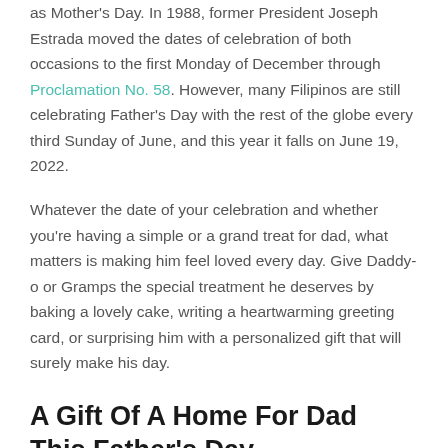as Mother's Day. In 1988, former President Joseph Estrada moved the dates of celebration of both occasions to the first Monday of December through Proclamation No. 58. However, many Filipinos are still celebrating Father's Day with the rest of the globe every third Sunday of June, and this year it falls on June 19, 2022.
Whatever the date of your celebration and whether you're having a simple or a grand treat for dad, what matters is making him feel loved every day. Give Daddy-o or Gramps the special treatment he deserves by baking a lovely cake, writing a heartwarming greeting card, or surprising him with a personalized gift that will surely make his day.
A Gift Of A Home For Dad This Father's Day